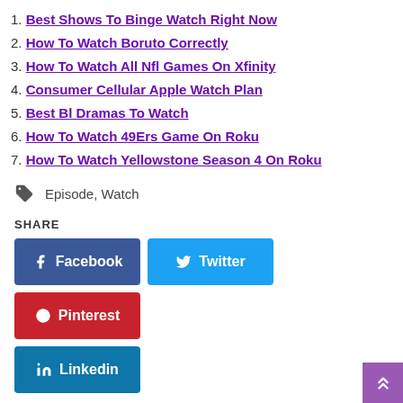1. Best Shows To Binge Watch Right Now
2. How To Watch Boruto Correctly
3. How To Watch All Nfl Games On Xfinity
4. Consumer Cellular Apple Watch Plan
5. Best Bl Dramas To Watch
6. How To Watch 49Ers Game On Roku
7. How To Watch Yellowstone Season 4 On Roku
Episode, Watch
SHARE
Facebook  Twitter  Pinterest  Linkedin